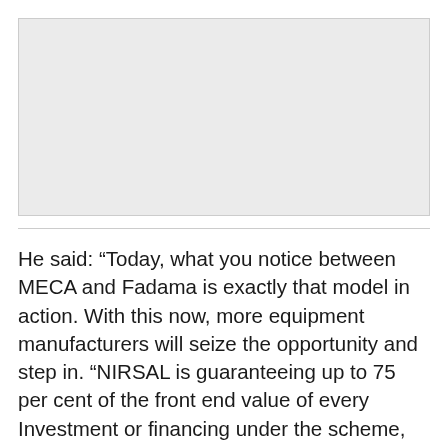[Figure (photo): Placeholder image area, light gray background]
He said: “Today, what you notice between MECA and Fadama is exactly that model in action. With this now, more equipment manufacturers will seize the opportunity and step in. “NIRSAL is guaranteeing up to 75 per cent of the front end value of every Investment or financing under the scheme, then for any successful outing where financing is done, equipment works, and